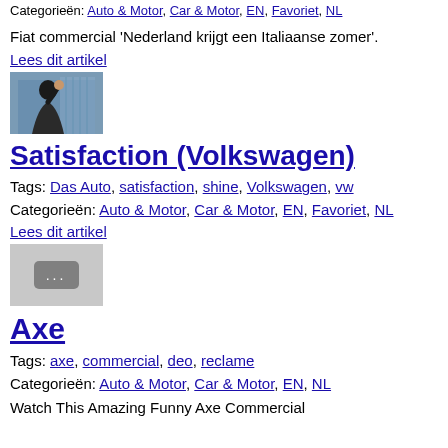Categorieën: Auto & Motor, Car & Motor, EN, Favoriet, NL
Fiat commercial 'Nederland krijgt een Italiaanse zomer'.
Lees dit artikel
[Figure (photo): Thumbnail image of a person in a suit raising a fist, against a blurred background]
Satisfaction (Volkswagen)
Tags: Das Auto, satisfaction, shine, Volkswagen, vw
Categorieën: Auto & Motor, Car & Motor, EN, Favoriet, NL
Lees dit artikel
[Figure (screenshot): Video thumbnail with a grey background and a play button showing three dots]
Axe
Tags: axe, commercial, deo, reclame
Categorieën: Auto & Motor, Car & Motor, EN, NL
Watch This Amazing Funny Axe Commercial